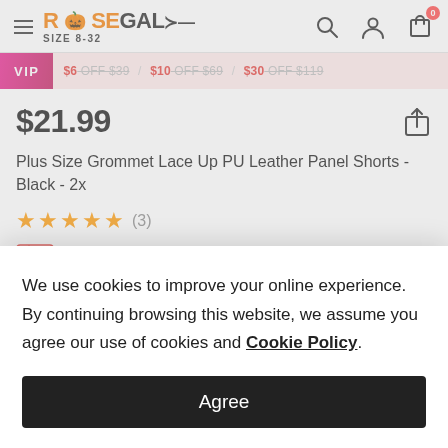ROSEGAL SIZE 8-32 — navigation header with search, account, cart icons
VIP $6 OFF $39 / $10 OFF $69 / $30 OFF $119
$21.99
Plus Size Grommet Lace Up PU Leather Panel Shorts - Black - 2x
★★★★★ (3)
GET $6.00 OFF $39.00+
We use cookies to improve your online experience. By continuing browsing this website, we assume you agree our use of cookies and Cookie Policy.
Agree